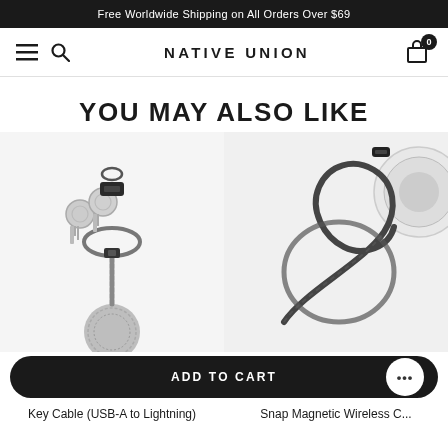Free Worldwide Shipping on All Orders Over $69
[Figure (logo): Native Union e-commerce website navigation bar with hamburger menu, search icon, NATIVE UNION brand logo, and cart icon with badge showing 0]
YOU MAY ALSO LIKE
[Figure (photo): Key Cable USB-A to Lightning - braided cable attached to keyring with keys]
[Figure (photo): Snap Magnetic Wireless Charger - circular wireless charging puck with braided USB-C cable coiled]
ADD TO CART
Key Cable (USB-A to Lightning)
Snap Magnetic Wireless C...